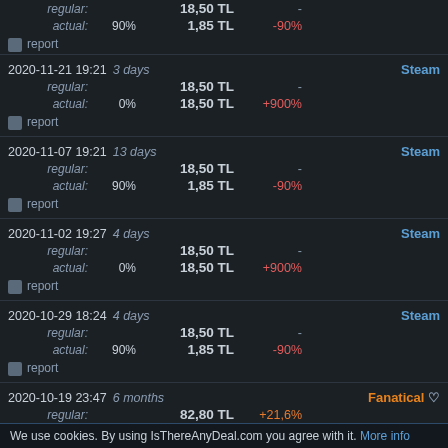| Date | Type | Percent | Price | Change | Shop |
| --- | --- | --- | --- | --- | --- |
| (partial top) | regular: |  | 18,50 TL | - | Steam |
| (partial top) | actual: | 90% | 1,85 TL | -90% |  |
| 2020-11-21 19:21 3 days | regular: |  | 18,50 TL | - | Steam |
| 2020-11-21 19:21 3 days | actual: | 0% | 18,50 TL | +900% |  |
| 2020-11-07 19:21 13 days | regular: |  | 18,50 TL | - | Steam |
| 2020-11-07 19:21 13 days | actual: | 90% | 1,85 TL | -90% |  |
| 2020-11-02 19:27 4 days | regular: |  | 18,50 TL | - | Steam |
| 2020-11-02 19:27 4 days | actual: | 0% | 18,50 TL | +900% |  |
| 2020-10-29 18:24 4 days | regular: |  | 18,50 TL | - | Steam |
| 2020-10-29 18:24 4 days | actual: | 90% | 1,85 TL | -90% |  |
| 2020-10-19 23:47 6 months | regular: |  | 82,80 TL | +21,6% | Fanatical |
| 2020-10-19 23:47 6 months | actual: | 0% | 82,80 TL | +21,6% |  |
We use cookies. By using IsThereAnyDeal.com you agree with it. More info